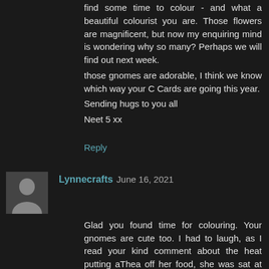find some time to colour - and what a beautiful colourist you are. Those flowers are magnificent, but now my enquiring mind is wondering why so many? Perhaps we will find out next week.
those gnomes are adorable, I think we know which way your C Cards are going this year.
Sending hugs to you all
Neet 5 xx
Reply
Lynnecrafts  June 16, 2021
Glad you found time for colouring. Your gnomes are cute too. I had to laugh, as I read your kind comment about the heat putting aThea off her food, she was sat at my feet polishing off a bowl of gourmet perle cat food! She does seem a bit brighter today.
Take care and happy WOYWW
Hugs
Lynnecrafts 7
Reply